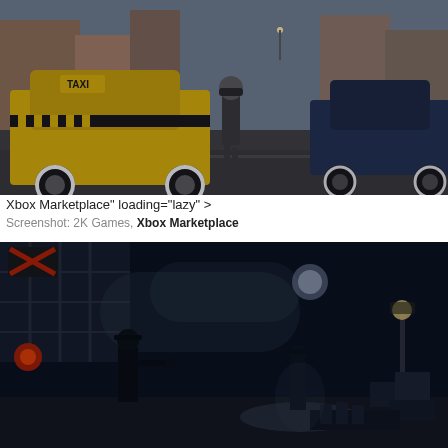[Figure (screenshot): Game screenshot from Mafia: a 1930s-era city street scene with a yellow taxi cab on the left, a dark blue vintage car on the right, and a man in a hat and long coat walking away down the rain-slicked street between the cars. Period buildings line the background.]
Xbox Marketplace" loading="lazy" >
Screenshot: 2K Games, Xbox Marketplace
[Figure (screenshot): Game screenshot from Mafia: a dark nighttime industrial scene with two silhouetted figures on a dimly lit dock or warehouse area. One figure on the left appears to be aiming a weapon, and a second figure stands in the background illuminated by a distant light. Crates and industrial equipment are visible around them.]